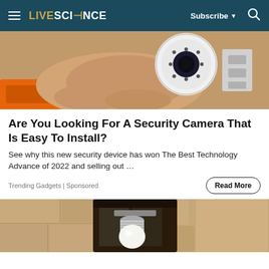LIVESCIENCE | Subscribe | Search
[Figure (photo): A hand holding a small white dome security camera with LED ring, orange tool visible in background]
Are You Looking For A Security Camera That Is Easy To Install?
See why this new security device has won The Best Technology Advance of 2022 and selling out …
Trending Gadgets | Sponsored
[Figure (photo): Outdoor wall-mounted black lantern light fixture with a white LED bulb screwed in, textured stone wall background]